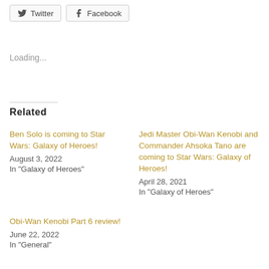[Figure (other): Social share buttons: Twitter and Facebook]
Loading...
Related
Ben Solo is coming to Star Wars: Galaxy of Heroes!
August 3, 2022
In "Galaxy of Heroes"
Jedi Master Obi-Wan Kenobi and Commander Ahsoka Tano are coming to Star Wars: Galaxy of Heroes!
April 28, 2021
In "Galaxy of Heroes"
Obi-Wan Kenobi Part 6 review!
June 22, 2022
In "General"